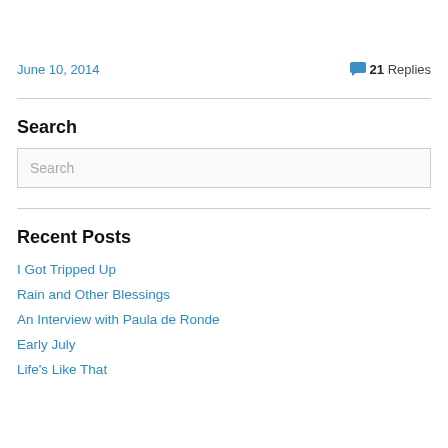June 10, 2014
21 Replies
Search
Search
Recent Posts
I Got Tripped Up
Rain and Other Blessings
An Interview with Paula de Ronde
Early July
Life's Like That